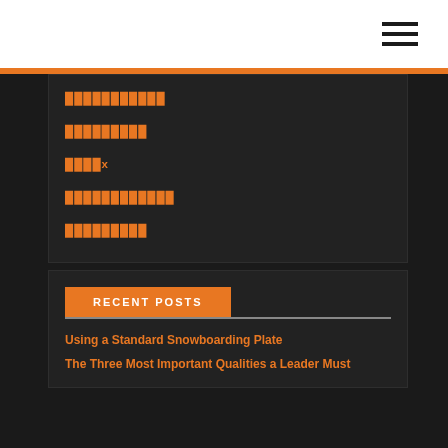███████████
█████████
████x
████████████
█████████
RECENT POSTS
Using a Standard Snowboarding Plate
The Three Most Important Qualities a Leader Must